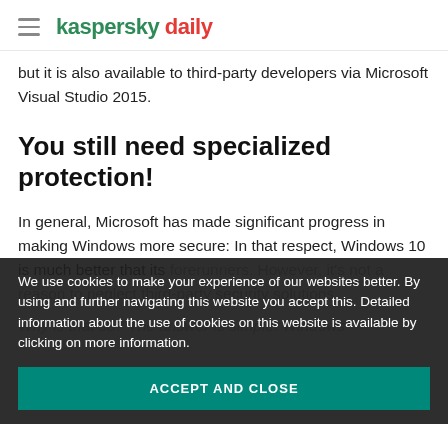kaspersky daily
but it is also available to third-party developers via Microsoft Visual Studio 2015.
You still need specialized protection!
In general, Microsoft has made significant progress in making Windows more secure: In that respect, Windows 10 is much better that its forerunners. However, it's not a reason to neglect third-party security solutions.
Why is that so? The answer is simple: Windows
We use cookies to make your experience of our websites better. By using and further navigating this website you accept this. Detailed information about the use of cookies on this website is available by clicking on more information.
ACCEPT AND CLOSE